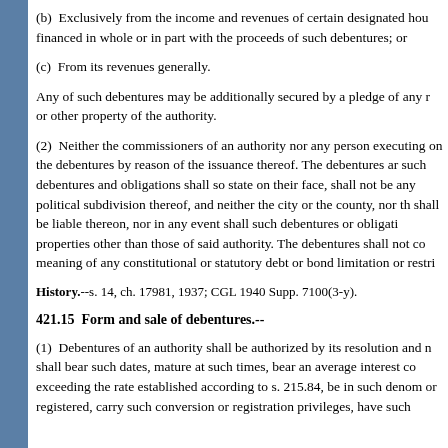(b)  Exclusively from the income and revenues of certain designated housing projects financed in whole or in part with the proceeds of such debentures; or
(c)  From its revenues generally.
Any of such debentures may be additionally secured by a pledge of any r or other property of the authority.
(2)  Neither the commissioners of an authority nor any person executing on the debentures by reason of the issuance thereof. The debentures ar such debentures and obligations shall so state on their face, shall not be any political subdivision thereof, and neither the city or the county, nor th shall be liable thereon, nor in any event shall such debentures or obligati properties other than those of said authority. The debentures shall not co meaning of any constitutional or statutory debt or bond limitation or restri
History.--s. 14, ch. 17981, 1937; CGL 1940 Supp. 7100(3-y).
421.15  Form and sale of debentures.--
(1)  Debentures of an authority shall be authorized by its resolution and n shall bear such dates, mature at such times, bear an average interest co exceeding the rate established according to s. 215.84, be in such denom or registered, carry such conversion or registration privileges, have such